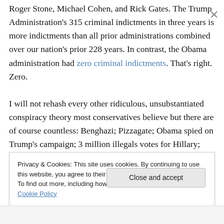Roger Stone, Michael Cohen, and Rick Gates. The Trump Administration's 315 criminal indictments in three years is more indictments than all prior administrations combined over our nation's prior 228 years. In contrast, the Obama administration had zero criminal indictments. That's right. Zero.
I will not rehash every other ridiculous, unsubstantiated conspiracy theory most conservatives believe but there are of course countless: Benghazi; Pizzagate; Obama spied on Trump's campaign; 3 million illegals votes for Hillary; Covid 19 is a hoax that will go away after the
Privacy & Cookies: This site uses cookies. By continuing to use this website, you agree to their use.
To find out more, including how to control cookies, see here: Cookie Policy
Close and accept